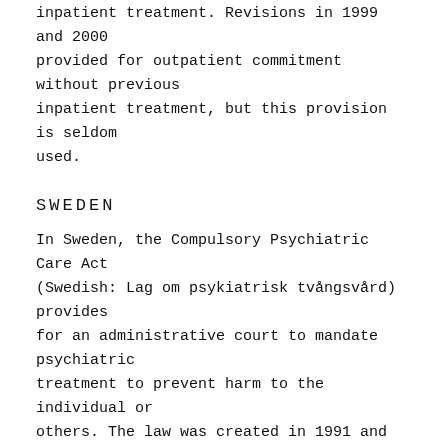inpatient treatment. Revisions in 1999 and 2000 provided for outpatient commitment without previous inpatient treatment, but this provision is seldom used.
SWEDEN
In Sweden, the Compulsory Psychiatric Care Act (Swedish: Lag om psykiatrisk tvångsvård) provides for an administrative court to mandate psychiatric treatment to prevent harm to the individual or others. The law was created in 1991 and revised in 2008.
ENGLAND AND WALES
Changes in service provision and amendments to the Mental Health Act in England and Wales have increased the scope for compulsion in the community